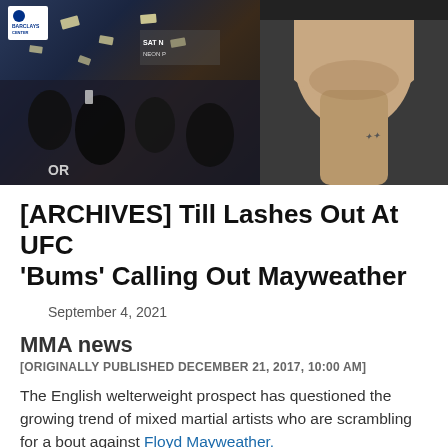[Figure (photo): Two-panel hero image: left panel shows a crowded event scene at Barclays Center with people and money/papers falling, right panel shows a close-up of a man's chin/neck with a tattoo, shirtless.]
[ARCHIVES] Till Lashes Out At UFC 'Bums' Calling Out Mayweather
September 4, 2021
MMA news
[ORIGINALLY PUBLISHED DECEMBER 21, 2017, 10:00 AM]
The English welterweight prospect has questioned the growing trend of mixed martial artists who are scrambling for a bout against Floyd Mayweather.
Darren Till understands why those in the UFC are